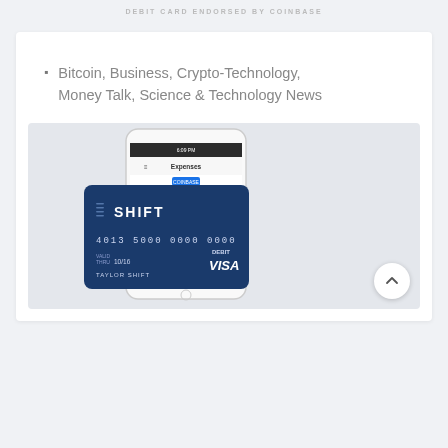DEBIT CARD ENDORSED BY COINBASE
Bitcoin, Business, Crypto-Technology, Money Talk, Science & Technology News
[Figure (photo): A smartphone showing the Coinbase app with a balance of $1,389.60 and transaction history, alongside a dark blue Shift Visa debit card with card number 4013 5000 0000 0000]